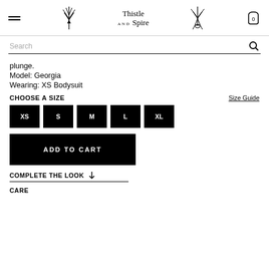Thistle and Spire — navigation header with hamburger menu, logo icons, and cart
Search
plunge.
Model: Georgia
Wearing: XS Bodysuit
CHOOSE A SIZE
Size Guide
XS
S
M
L
XL
ADD TO CART
COMPLETE THE LOOK
CARE